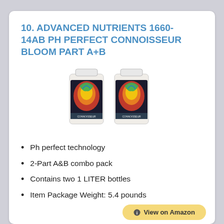10. ADVANCED NUTRIENTS 1660-14AB PH PERFECT CONNOISSEUR BLOOM PART A+B
[Figure (photo): Two bottles of Advanced Nutrients Connoisseur Bloom Part A and Part B, each 1 liter, with colorful labels depicting a bird of paradise or similar graphic.]
Ph perfect technology
2-Part A&B combo pack
Contains two 1 LITER bottles
Item Package Weight: 5.4 pounds